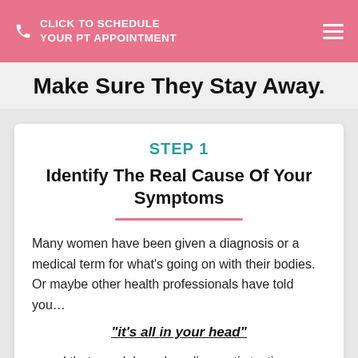CLICK TO SCHEDULE YOUR PT APPOINTMENT
Make Sure They Stay Away.
STEP 1
Identify The Real Cause Of Your Symptoms
Many women have been given a diagnosis or a medical term for what's going on with their bodies. Or maybe other health professionals have told you...
“it’s all in your head”
…and that your lab work or diagnostic testing showed that nothing is wrong.